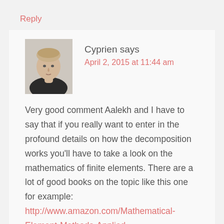Reply
[Figure (photo): Profile photo of Cyprien, a man with short light hair wearing a dark jacket, photographed against a white background.]
Cyprien says
April 2, 2015 at 11:44 am
Very good comment Aalekh and I have to say that if you really want to enter in the profound details on how the decomposition works you'll have to take a look on the mathematics of finite elements. There are a lot of good books on the topic like this one for example:
http://www.amazon.com/Mathematical-Element-Methods-Applied-Mathematics/dp/1441926119/ref=sr_1_6?